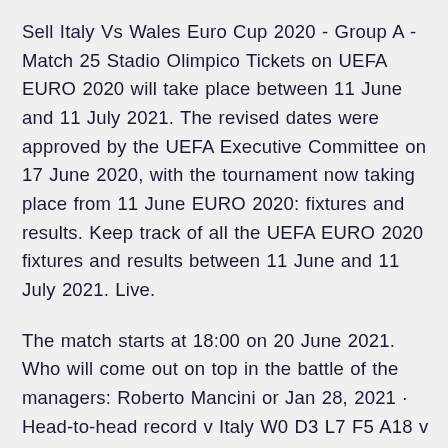Sell Italy Vs Wales Euro Cup 2020 - Group A - Match 25 Stadio Olimpico Tickets on UEFA EURO 2020 will take place between 11 June and 11 July 2021. The revised dates were approved by the UEFA Executive Committee on 17 June 2020, with the tournament now taking place from 11 June EURO 2020: fixtures and results. Keep track of all the UEFA EURO 2020 fixtures and results between 11 June and 11 July 2021. Live.
The match starts at 18:00 on 20 June 2021. Who will come out on top in the battle of the managers: Roberto Mancini or Jan 28, 2021 · Head-to-head record v Italy W0 D3 L7 F5 A18 v Wales W2 D1 L3 F7 A10 v Switzerland W8 D3 L4 F21 A20 Qualifying record: P10 W7 D2 L1 F18 A3 Qualifying top scorer: Cenk Tosun (5) UEFA EURO best: semi Get a summary of the Wales vs